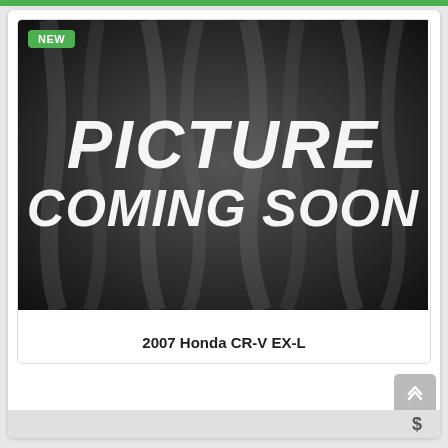[Figure (photo): Placeholder image with dark draped fabric background and bold white italic text reading 'PICTURE COMING SOON'. Green 'NEW' badge in top-left corner.]
2007 Honda CR-V EX-L